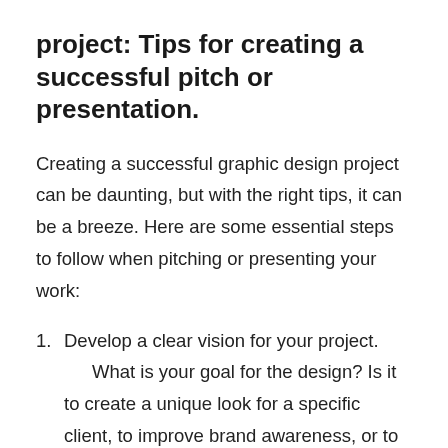project: Tips for creating a successful pitch or presentation.
Creating a successful graphic design project can be daunting, but with the right tips, it can be a breeze. Here are some essential steps to follow when pitching or presenting your work:
1. Develop a clear vision for your project. What is your goal for the design? Is it to create a unique look for a specific client, to improve brand awareness, or to create an effective marketing tool? Once you know